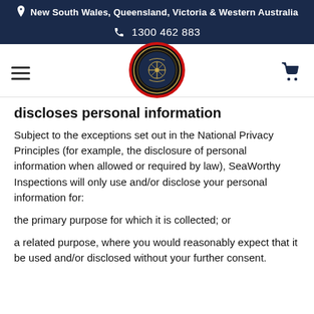New South Wales, Queensland, Victoria & Western Australia | 1300 462 883
[Figure (logo): SeaWorthy Inspections circular logo with compass rose, red border, dark background, with hamburger menu icon on left and shopping cart icon on right]
discloses personal information
Subject to the exceptions set out in the National Privacy Principles (for example, the disclosure of personal information when allowed or required by law), SeaWorthy Inspections will only use and/or disclose your personal information for:
the primary purpose for which it is collected; or
a related purpose, where you would reasonably expect that it be used and/or disclosed without your further consent.